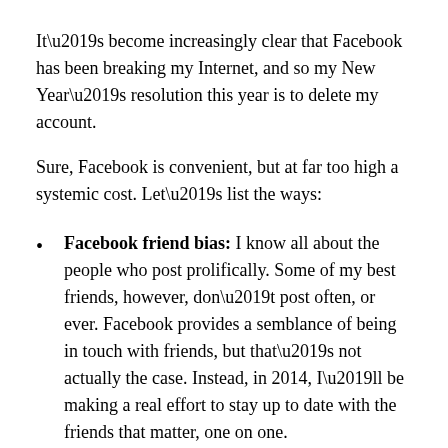It’s become increasingly clear that Facebook has been breaking my Internet, and so my New Year’s resolution this year is to delete my account.
Sure, Facebook is convenient, but at far too high a systemic cost. Let’s list the ways:
Facebook friend bias: I know all about the people who post prolifically. Some of my best friends, however, don’t post often, or ever. Facebook provides a semblance of being in touch with friends, but that’s not actually the case. Instead, in 2014, I’ll be making a real effort to stay up to date with the friends that matter, one on one.
Too many Likes: Likes are cheap and easy, and so is the occasional facile one-liner, but that is now a problem — they are an awful proxy for